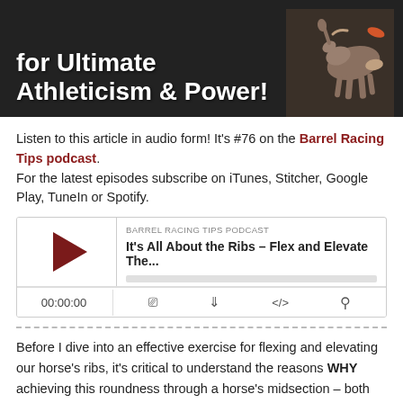[Figure (photo): Banner image with white bold text on dark background showing partial text 'for Ultimate Athleticism & Power!' with a horse photo on the right side]
Listen to this article in audio form! It’s #76 on the Barrel Racing Tips podcast. For the latest episodes subscribe on iTunes, Stitcher, Google Play, TuneIn or Spotify.
[Figure (screenshot): Embedded podcast player widget showing 'BARREL RACING TIPS PODCAST' label, episode title 'It’s All About the Ribs – Flex and Elevate The...', a play button, progress bar, time display '00:00:00', and control icons for RSS, download, embed, and sharing]
Before I dive into an effective exercise for flexing and elevating our horse’s ribs, it’s critical to understand the reasons WHY achieving this roundness through a horse’s midsection – both latitudinally and longitudinally, is so